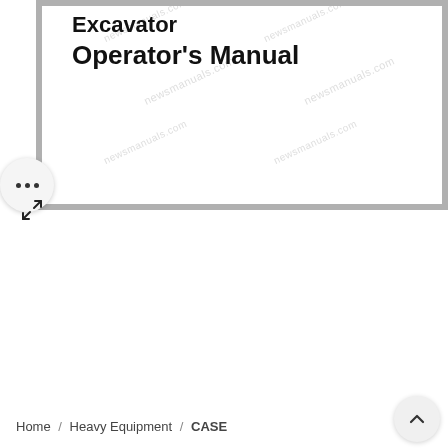[Figure (screenshot): Preview thumbnail of an Excavator Operator's Manual document page, shown inside a gray-bordered frame with newsmanuals.com watermarks. Partial title visible: 'Excavator' (top, cut off) and 'Operator's Manual' below it.]
Excavator Operator's Manual
Home / Heavy Equipment / CASE